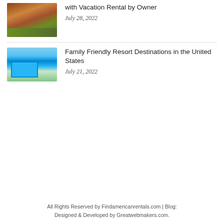[Figure (photo): Thumbnail photo of a vacation rental property with red-tiled roof and green lawn]
with Vacation Rental by Owner
July 28, 2022
[Figure (photo): Thumbnail photo of a family friendly resort with pool and waterfront view]
Family Friendly Resort Destinations in the United States
July 21, 2022
All Rights Reserved by Findamericanrentals.com | Blog: Designed & Developed by Greatwebmakers.com.